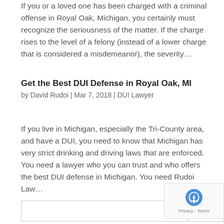If you or a loved one has been charged with a criminal offense in Royal Oak, Michigan, you certainly must recognize the seriousness of the matter. If the charge rises to the level of a felony (instead of a lower charge that is considered a misdemeanor), the severity...
Get the Best DUI Defense in Royal Oak, MI
by David Rudoi | Mar 7, 2018 | DUI Lawyer
If you live in Michigan, especially the Tri-County area, and have a DUI, you need to know that Michigan has very strict drinking and driving laws that are enforced. You need a lawyer who you can trust and who offers the best DUI defense in Michigan. You need Rudoi Law...